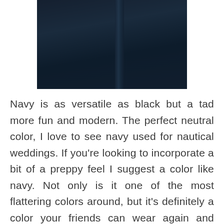[Figure (photo): Close-up photo of dark navy blue fabric or curtain, showing deep navy color with a vertical crease or fold visible slightly right of center.]
Navy is as versatile as black but a tad more fun and modern. The perfect neutral color, I love to see navy used for nautical weddings. If you're looking to incorporate a bit of a preppy feel I suggest a color like navy. Not only is it one of the most flattering colors around, but it's definitely a color your friends can wear again and again.